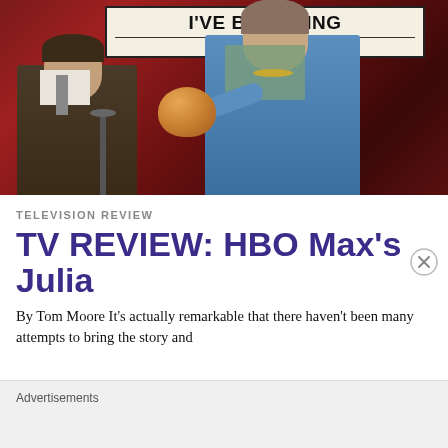[Figure (photo): Scene from HBO Max's Julia TV show: a man in a suit on the left and a tall woman in a blue suit on the right holding a copper bowl, in front of a sign reading I'VE BEEN READING with Your Fla... and ...amel, set against dark red curtains backdrop.]
TELEVISION REVIEW
TV REVIEW: HBO Max's Julia
By Tom Moore It's actually remarkable that there haven't been many attempts to bring the story and
Advertisements